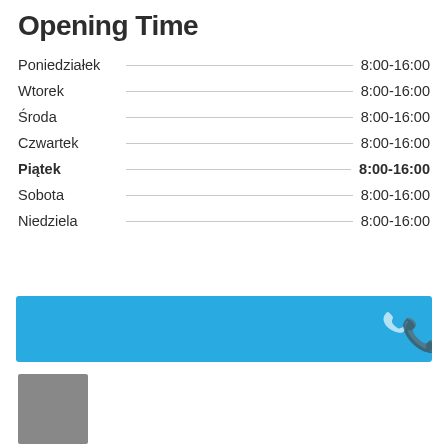Opening Time
Poniedziałek — 8:00-16:00
Wtorek — 8:00-16:00
Środa — 8:00-16:00
Czwartek — 8:00-16:00
Piątek — 8:00-16:00
Sobota — 8:00-16:00
Niedziela — 8:00-16:00
[Figure (other): Blue banner with a white phone icon on the right side]
[Figure (other): Small gray square/box]